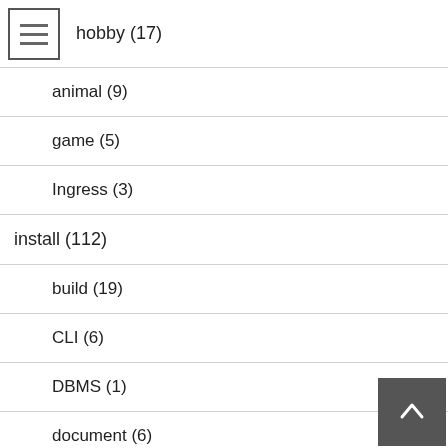hobby (17)
animal (9)
game (5)
Ingress (3)
install (112)
build (19)
CLI (6)
DBMS (1)
document (6)
GUI (22)
image (2)